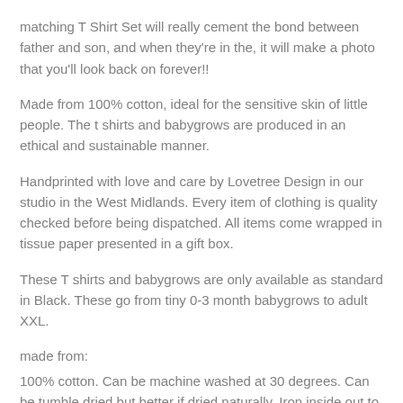matching T Shirt Set will really cement the bond between father and son, and when they're in the, it will make a photo that you'll look back on forever!!
Made from 100% cotton, ideal for the sensitive skin of little people. The t shirts and babygrows are produced in an ethical and sustainable manner.
Handprinted with love and care by Lovetree Design in our studio in the West Midlands. Every item of clothing is quality checked before being dispatched. All items come wrapped in tissue paper presented in a gift box.
These T shirts and babygrows are only available as standard in Black. These go from tiny 0-3 month babygrows to adult XXL.
made from:
100% cotton. Can be machine washed at 30 degrees. Can be tumble dried but better if dried naturally. Iron inside out to avoid print.